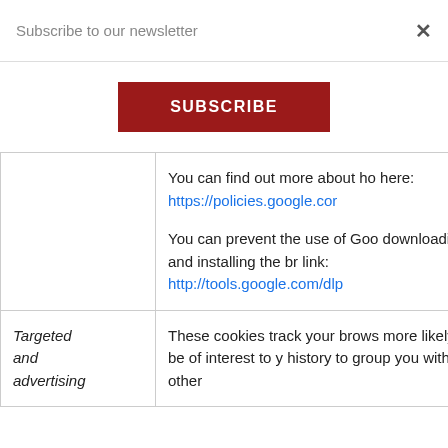Subscribe to our newsletter
SUBSCRIBE
|  | You can find out more about ho here: https://policies.google.cor

You can prevent the use of Goo downloading and installing the br link: http://tools.google.com/dlp |
| Targeted and advertising | These cookies track your brows more likely to be of interest to y history to group you with other |